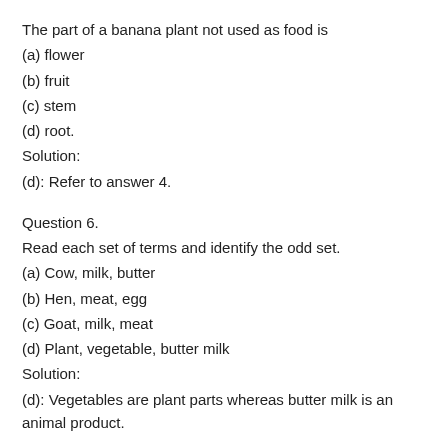The part of a banana plant not used as food is
(a) flower
(b) fruit
(c) stem
(d) root.
Solution:
(d): Refer to answer 4.
Question 6.
Read each set of terms and identify the odd set.
(a) Cow, milk, butter
(b) Hen, meat, egg
(c) Goat, milk, meat
(d) Plant, vegetable, butter milk
Solution:
(d): Vegetables are plant parts whereas butter milk is an animal product.